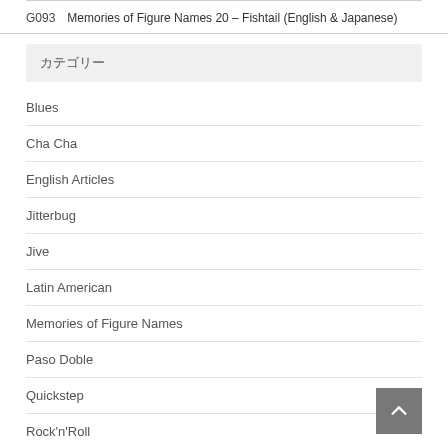G093   Memories of Figure Names 20 – Fishtail (English & Japanese)
カテゴリー
Blues
Cha Cha
English Articles
Jitterbug
Jive
Latin American
Memories of Figure Names
Paso Doble
Quickstep
Rock'n'Roll